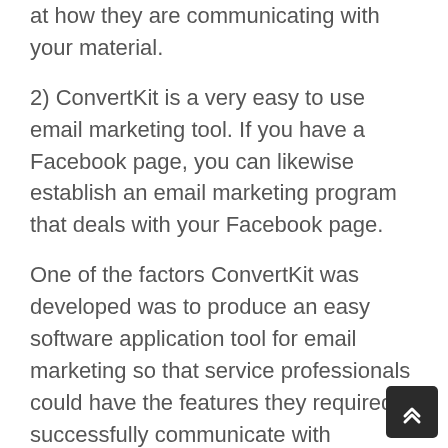at how they are communicating with your material.
2) ConvertKit is a very easy to use email marketing tool. If you have a Facebook page, you can likewise establish an email marketing program that deals with your Facebook page.
One of the factors ConvertKit was developed was to produce an easy software application tool for email marketing so that service professionals could have the features they required to successfully communicate with potential customers and consumers. The analytics control panel is clean and easy to use. The platform was likewise designed to be straightforward so that users can focus on the essential jobs.
We don't wish to develop functions that are just fo the sake of having features. We are aiming to